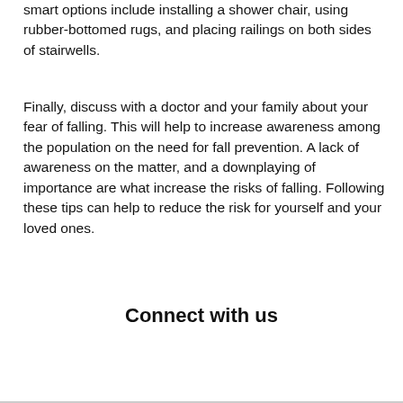smart options include installing a shower chair, using rubber-bottomed rugs, and placing railings on both sides of stairwells.
Finally, discuss with a doctor and your family about your fear of falling. This will help to increase awareness among the population on the need for fall prevention. A lack of awareness on the matter, and a downplaying of importance are what increase the risks of falling. Following these tips can help to reduce the risk for yourself and your loved ones.
Connect with us
[Figure (other): Twitter Follow button with bird icon, blue rounded rectangle]